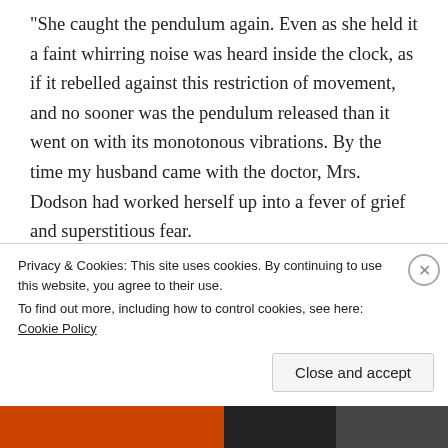“She caught the pendulum again. Even as she held it a faint whirring noise was heard inside the clock, as if it rebelled against this restriction of movement, and no sooner was the pendulum released than it went on with its monotonous vibrations. By the time my husband came with the doctor, Mrs. Dodson had worked herself up into a fever of grief and superstitious fear.
“‘It won’t stop,’ she said over and over again.
“My husband tried to comfort her. ‘If you want a clock stopped at the hour of death,’ he said, ‘we will have to
Privacy & Cookies: This site uses cookies. By continuing to use this website, you agree to their use.
To find out more, including how to control cookies, see here: Cookie Policy
Close and accept